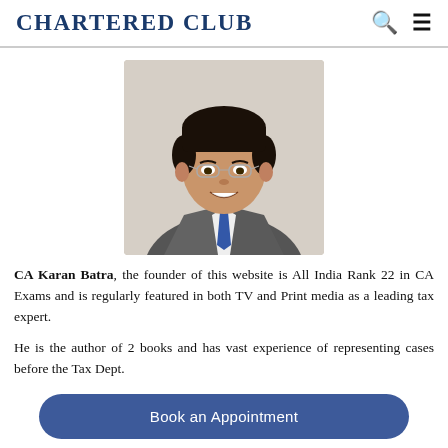Chartered Club
[Figure (photo): Professional headshot of CA Karan Batra, a man in a grey suit with a blue tie and glasses, smiling.]
CA Karan Batra, the founder of this website is All India Rank 22 in CA Exams and is regularly featured in both TV and Print media as a leading tax expert.
He is the author of 2 books and has vast experience of representing cases before the Tax Dept.
Book an Appointment